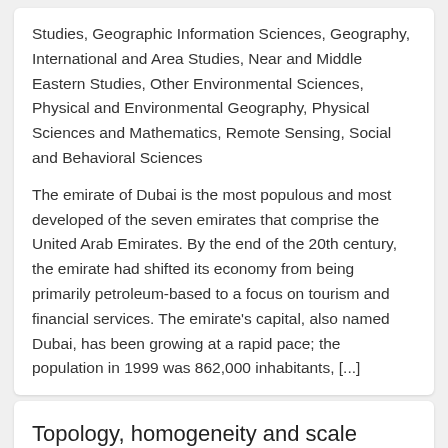Studies, Geographic Information Sciences, Geography, International and Area Studies, Near and Middle Eastern Studies, Other Environmental Sciences, Physical and Environmental Geography, Physical Sciences and Mathematics, Remote Sensing, Social and Behavioral Sciences
The emirate of Dubai is the most populous and most developed of the seven emirates that comprise the United Arab Emirates. By the end of the 20th century, the emirate had shifted its economy from being primarily petroleum-based to a focus on tourism and financial services. The emirate's capital, also named Dubai, has been growing at a rapid pace; the population in 1999 was 862,000 inhabitants, [...]
Topology, homogeneity and scale factors for object detection: